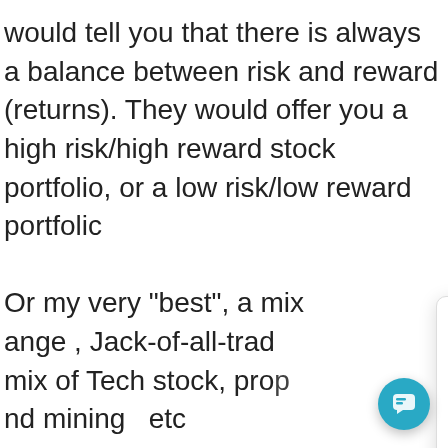would tell you that there is always a balance between risk and reward (returns). They would offer you a high risk/high reward stock portfolio, or a low risk/low reward portfolic Or my very "best", a mix ange, Jack-of-all-trad mix of Tech stock, prop nd mining etc On these portfolios you rom 2% through to abo nflation rate is around 4.5% , but the real or perceived inflation is around 8%. These investr herefore don't offer much growth.
[Figure (screenshot): Chat popup widget with Organic Growth logo, close button, message about questions and help, link to https://organicgrowth.co.za/box, and a teal FAB chat button.]